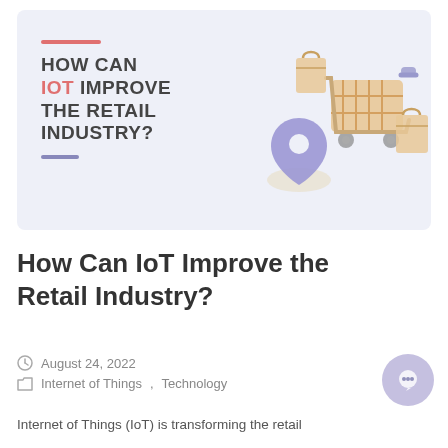[Figure (illustration): Hero banner image with light blue/lavender background showing a 3D shopping cart, shopping bags, and a location pin. Text overlay reads: HOW CAN IOT IMPROVE THE RETAIL INDUSTRY?]
How Can IoT Improve the Retail Industry?
August 24, 2022
Internet of Things, Technology
Internet of Things (IoT) is transforming the retail